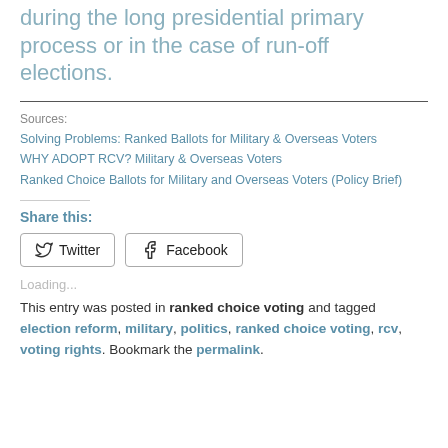during the long presidential primary process or in the case of run-off elections.
Sources:
Solving Problems: Ranked Ballots for Military & Overseas Voters
WHY ADOPT RCV? Military & Overseas Voters
Ranked Choice Ballots for Military and Overseas Voters (Policy Brief)
Share this:
Loading...
This entry was posted in ranked choice voting and tagged election reform, military, politics, ranked choice voting, rcv, voting rights. Bookmark the permalink.